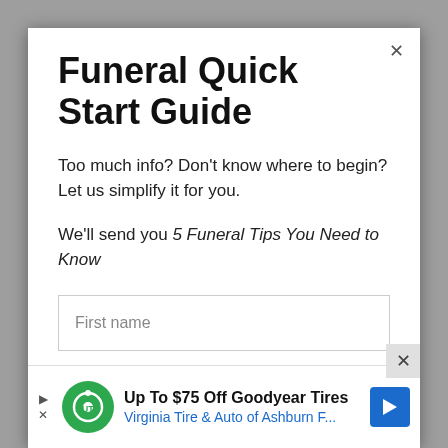Funeral Quick Start Guide
Too much info? Don't know where to begin? Let us simplify it for you.
We'll send you 5 Funeral Tips You Need to Know
First name
Email address
[Figure (infographic): Advertisement banner: Up To $75 Off Goodyear Tires — Virginia Tire & Auto of Ashburn F... with Goodyear logo and blue navigation arrow icon]